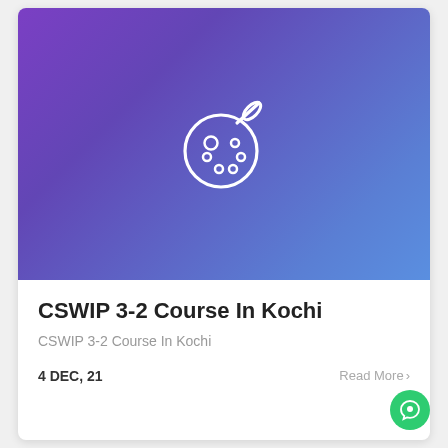[Figure (illustration): Purple-to-blue gradient banner with a white artist palette and paintbrush icon centered in the middle]
CSWIP 3-2 Course In Kochi
CSWIP 3-2 Course In Kochi
4 DEC, 21
Read More >